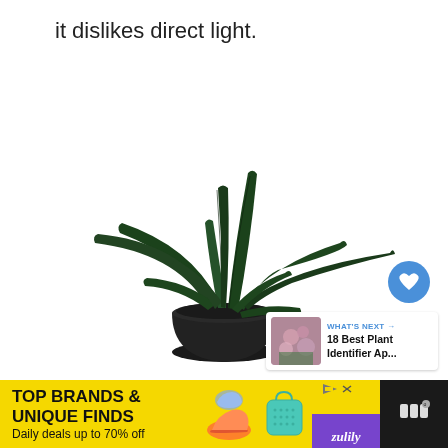it dislikes direct light.
[Figure (photo): A cast iron plant (Aspidistra elatior) with long dark green leaves in a black pot, on a white background. A blue heart button and a white share button are overlaid on the right side. A 'WHAT'S NEXT' card in the bottom right shows a thumbnail of flowering plants and the text '18 Best Plant Identifier Ap...']
[Figure (infographic): Advertisement banner: yellow background with text 'TOP BRANDS & UNIQUE FINDS' and 'Daily deals up to 70% off', with images of shoes and a teal bag, and the Zulily logo. Right side has a dark panel with a weather/app icon.]